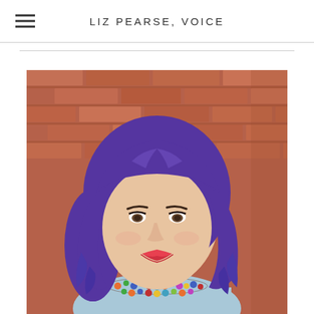LIZ PEARSE, VOICE
[Figure (photo): Professional headshot of a woman with purple/violet wavy hair, wearing a colorful beaded necklace and light blue top, smiling, photographed against a red brick wall background.]